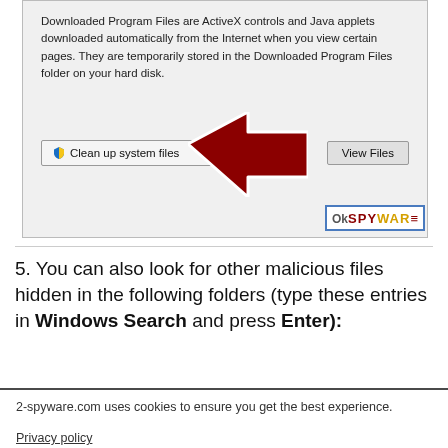[Figure (screenshot): Windows Disk Cleanup dialog screenshot showing 'Clean up system files' and 'View Files' buttons with a red arrow pointing to the 'Clean up system files' button and the ok2spyware.com logo watermark.]
5. You can also look for other malicious files hidden in the following folders (type these entries in Windows Search and press Enter):
[Figure (screenshot): Dark gray bar at bottom of page showing a cookie consent notice from 2-spyware.com with Privacy policy link and Agree button.]